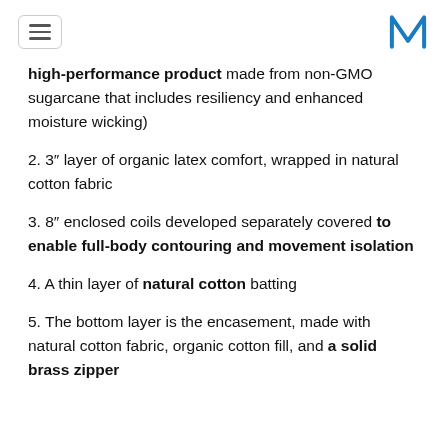[hamburger menu icon] [M logo]
high-performance product made from non-GMO sugarcane that includes resiliency and enhanced moisture wicking)
2. 3" layer of organic latex comfort, wrapped in natural cotton fabric
3. 8" enclosed coils developed separately covered to enable full-body contouring and movement isolation
4. A thin layer of natural cotton batting
5. The bottom layer is the encasement, made with natural cotton fabric, organic cotton fill, and a solid brass zipper